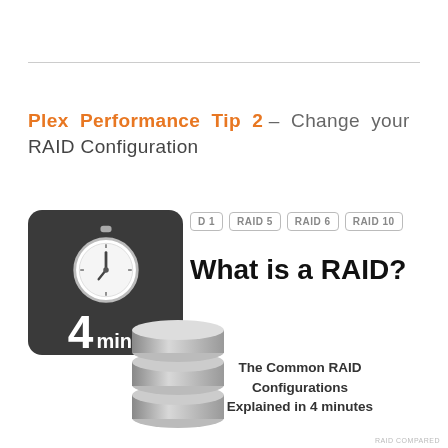Plex Performance Tip 2 – Change your RAID Configuration
[Figure (illustration): A stopwatch icon on dark rounded square with '4 mins' label, overlapping a stack of gray database cylinders. To the right: RAID badge labels (D 1, RAID 5, RAID 6, RAID 10), bold text 'What is a RAID?', and subtitle 'The Common RAID Configurations Explained in 4 minutes'.]